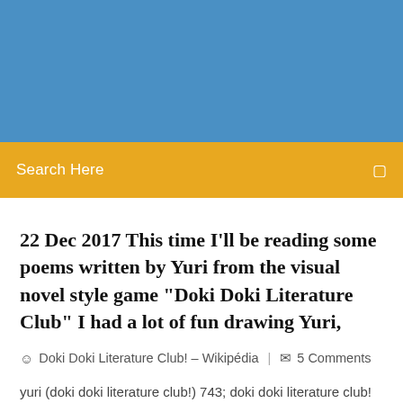[Figure (other): Blue header banner background]
Search Here
22 Dec 2017 This time I'll be reading some poems written by Yuri from the visual novel style game "Doki Doki Literature Club" I had a lot of fun drawing Yuri,
Doki Doki Literature Club! – Wikipédia  |  5 Comments
yuri (doki doki literature club!) 743; doki doki literature club! 2552; natsuki (doki doki literature club!) 747; sayori (doki doki literature